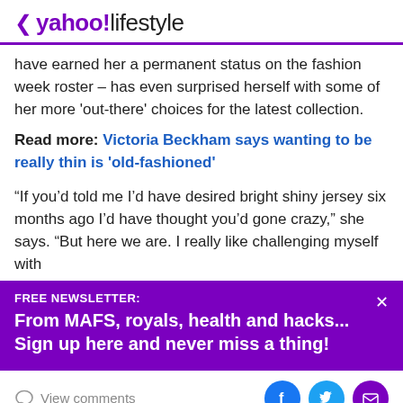< yahoo!lifestyle
have earned her a permanent status on the fashion week roster – has even surprised herself with some of her more 'out-there' choices for the latest collection.
Read more: Victoria Beckham says wanting to be really thin is 'old-fashioned'
“If you’d told me I’d have desired bright shiny jersey six months ago I’d have thought you’d gone crazy,” she says. “But here we are. I really like challenging myself with
FREE NEWSLETTER:
From MAFS, royals, health and hacks... Sign up here and never miss a thing!
View comments